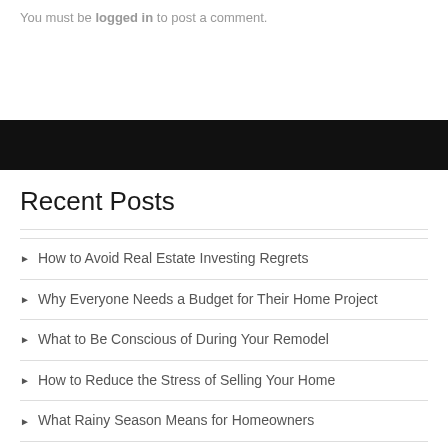You must be logged in to post a comment.
Recent Posts
How to Avoid Real Estate Investing Regrets
Why Everyone Needs a Budget for Their Home Project
What to Be Conscious of During Your Remodel
How to Reduce the Stress of Selling Your Home
What Rainy Season Means for Homeowners